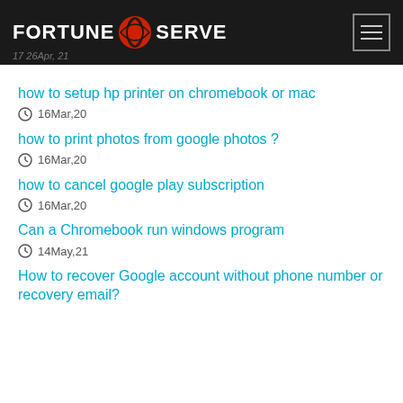FORTUNE SERVE
how to setup hp printer on chromebook or mac
16Mar,20
how to print photos from google photos ?
16Mar,20
how to cancel google play subscription
16Mar,20
Can a Chromebook run windows program
14May,21
How to recover Google account without phone number or recovery email?